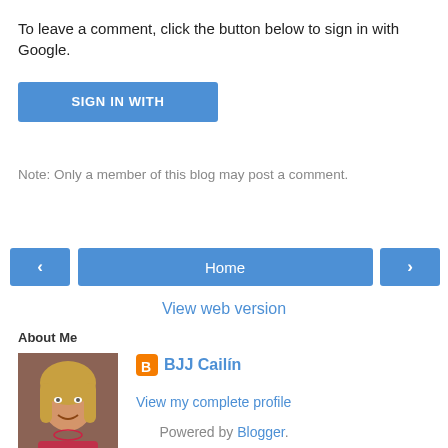To leave a comment, click the button below to sign in with Google.
[Figure (screenshot): Blue 'SIGN IN WITH GOOGLE' button]
Note: Only a member of this blog may post a comment.
[Figure (screenshot): Navigation row with left arrow button, Home button, and right arrow button]
View web version
About Me
[Figure (photo): Profile photo of BJJ Cailin - woman with blonde hair]
BJJ Cailín
View my complete profile
Powered by Blogger.